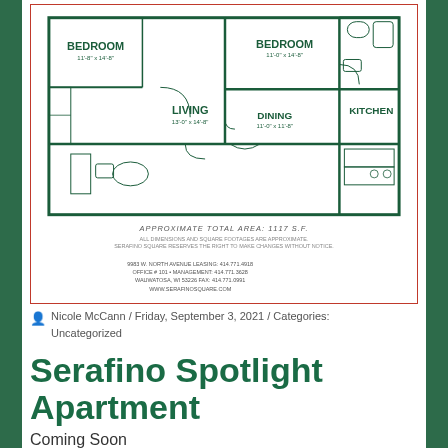[Figure (schematic): Apartment floor plan showing two bedrooms, living area, dining area, kitchen, and bathroom. Approximate Total Area: 1117 s.f. Contact info: 9983 W. North Avenue, Office #101, Wauwatosa, WI 53226. Leasing: 414.771.4918, Management: 414.771.3628, Fax: 414.771.0991. www.serafinosquare.com]
Nicole McCann / Friday, September 3, 2021 / Categories: Uncategorized
Serafino Spotlight Apartment
Coming Soon